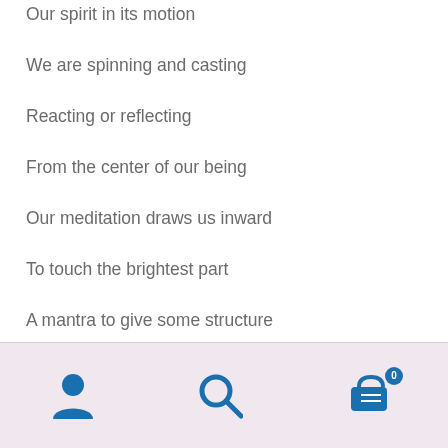Our spirit in its motion
We are spinning and casting
Reacting or reflecting
From the center of our being
Our meditation draws us inward
To touch the brightest part
A mantra to give some structure
May we be healthy and happy
Navigation bar with user, search, and cart icons